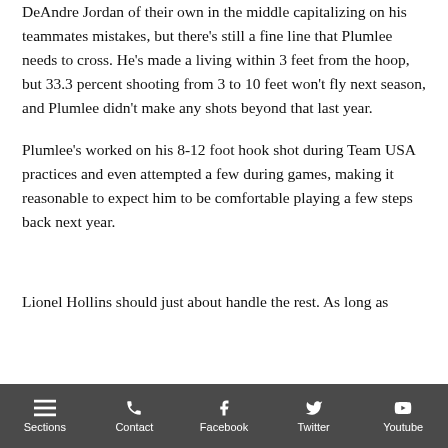DeAndre Jordan of their own in the middle capitalizing on his teammates mistakes, but there's still a fine line that Plumlee needs to cross. He's made a living within 3 feet from the hoop, but 33.3 percent shooting from 3 to 10 feet won't fly next season, and Plumlee didn't make any shots beyond that last year.
Plumlee's worked on his 8-12 foot hook shot during Team USA practices and even attempted a few during games, making it reasonable to expect him to be comfortable playing a few steps back next year.
Lionel Hollins should just about handle the rest. As long as
Sections  Contact  Facebook  Twitter  Youtube